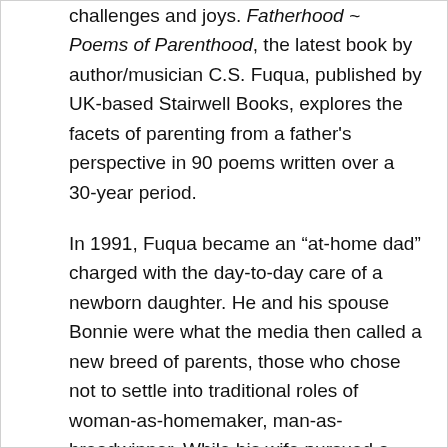challenges and joys. Fatherhood ~ Poems of Parenthood, the latest book by author/musician C.S. Fuqua, published by UK-based Stairwell Books, explores the facets of parenting from a father's perspective in 90 poems written over a 30-year period.
In 1991, Fuqua became an “at-home dad” charged with the day-to-day care of a newborn daughter. He and his spouse Bonnie were what the media then called a new breed of parents, those who chose not to settle into traditional roles of woman-as-homemaker, man-as-breadwinner. While his wife pursued a career in public service, Fuqua established himself as a freelance writer.